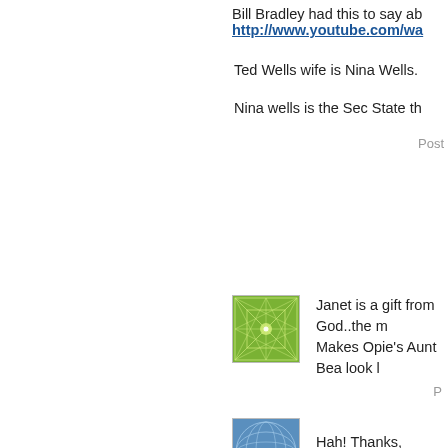Bill Bradley had this to say ab...
http://www.youtube.com/wa...
Ted Wells wife is Nina Wells.
Nina wells is the Sec State th...
Post...
[Figure (illustration): Green geometric grid pattern avatar icon]
Janet is a gift from God..the m... Makes Opie's Aunt Bea look l...
P...
[Figure (illustration): Blue sphere/globe pattern avatar icon]
Hah! Thanks, Clarice.
[Figure (illustration): Green spiral pattern avatar icon]
Janet is a gift from God..the m...
Once again, I agree x ten!
Posted by: Jane -...
[Figure (illustration): Orange geometric lines pattern avatar icon]
"At common law, with...